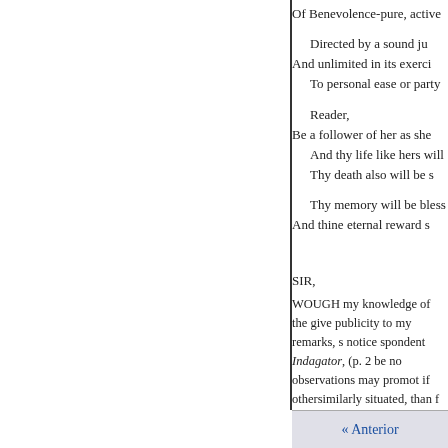Of Benevolence-pure, active
Directed by a sound ju
And unlimited in its exerci
To personal ease or party

Reader,
Be a follower of her as she
And thy life like hers will
Thy death also will be s

Thy memory will be bless
And thine eternal reward s
SIR,
WOUGH my knowledge of the give publicity to my remarks, s notice spondent Indagator, (p. 2 be no observations may promot if othersimilarly situated, than f
« Anterior